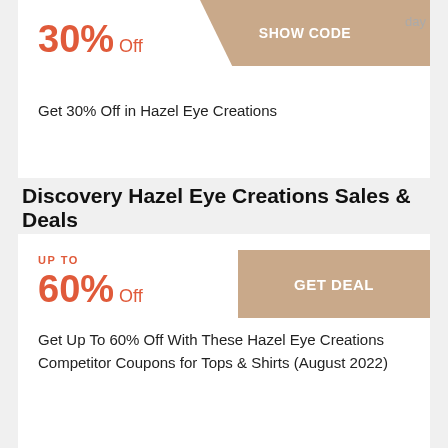30% Off
SHOW CODE  day
Get 30% Off in Hazel Eye Creations
Discovery Hazel Eye Creations Sales & Deals
UP TO
60% Off
GET DEAL
Get Up To 60% Off With These Hazel Eye Creations Competitor Coupons for Tops & Shirts (August 2022)